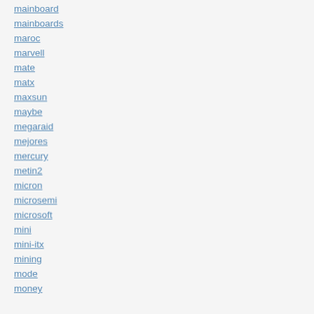mainboard
mainboards
maroc
marvell
mate
matx
maxsun
maybe
megaraid
mejores
mercury
metin2
micron
microsemi
microsoft
mini
mini-itx
mining
mode
money